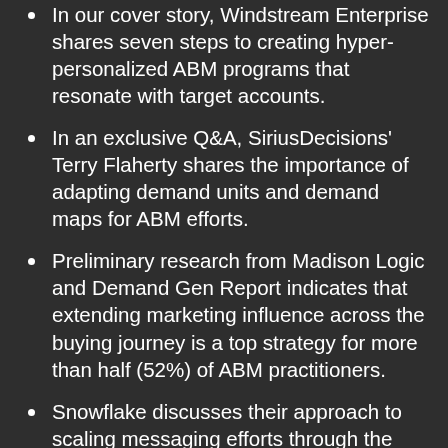In our cover story, Windstream Enterprise shares seven steps to creating hyper-personalized ABM programs that resonate with target accounts.
In an exclusive Q&A, SiriusDecisions' Terry Flaherty shares the importance of adapting demand units and demand maps for ABM efforts.
Preliminary research from Madison Logic and Demand Gen Report indicates that extending marketing influence across the buying journey is a top strategy for more than half (52%) of ABM practitioners.
Snowflake discusses their approach to scaling messaging efforts through the help of unique content hubs tailored to different industries.